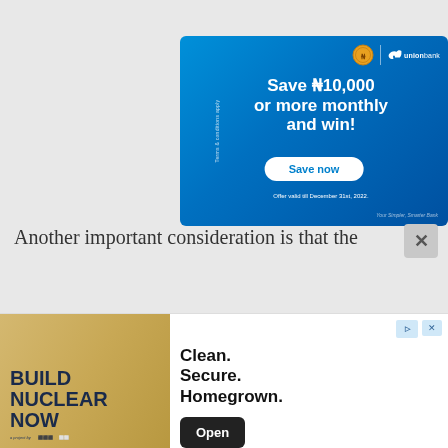[Figure (illustration): Union Bank advertisement: blue gradient background, gold coin logo and Union Bank horse logo top right, rotated side text 'Terms & conditions apply', bold white headline 'Save ₦10,000 or more monthly and win!', white pill-shaped 'Save now' button, offer text 'Offer valid till December 31st, 2022.', italic tagline 'Your Simpler, Smarter Bank']
Another important consideration is that the
[Figure (illustration): Build Nuclear Now advertisement banner: left side gold/tan textured background with bold dark text 'BUILD NUCLEAR NOW' and small logos at bottom, right side white background with text 'Clean. Secure. Homogeneous.' and a black 'Open' button, 'Build Nuclear Now' text at bottom. Ad badge icons at top right.]